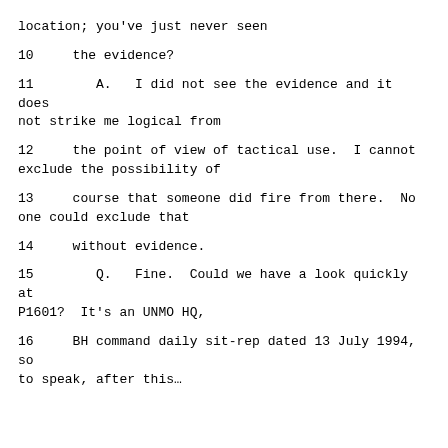location; you've just never seen
10     the evidence?
11        A.   I did not see the evidence and it does not strike me logical from
12     the point of view of tactical use.  I cannot exclude the possibility of
13     course that someone did fire from there.  No one could exclude that
14     without evidence.
15        Q.   Fine.  Could we have a look quickly at P1601?  It's an UNMO HQ,
16     BH command daily sit-rep dated 13 July 1994, so to speak, after this…